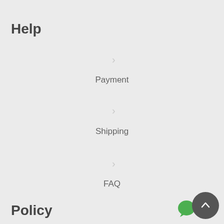Help
> Payment
> Shipping
> FAQ
Policy
> Terms & Conditions